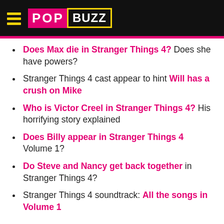PopBuzz
Does Max die in Stranger Things 4? Does she have powers?
Stranger Things 4 cast appear to hint Will has a crush on Mike
Who is Victor Creel in Stranger Things 4? His horrifying story explained
Does Billy appear in Stranger Things 4 Volume 1?
Do Steve and Nancy get back together in Stranger Things 4?
Stranger Things 4 soundtrack: All the songs in Volume 1